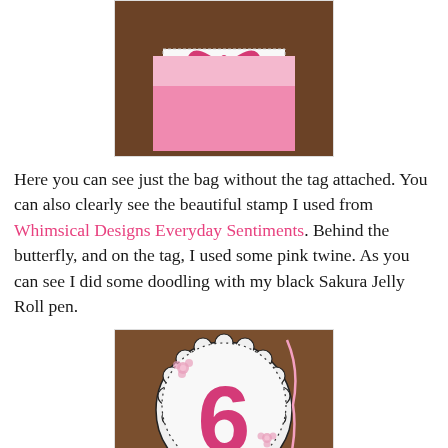[Figure (photo): A handmade pink gift bag with a white card featuring a butterfly stamp made from pink/red heart-shaped wings, on a wooden surface.]
Here you can see just the bag without the tag attached. You can also clearly see the beautiful stamp I used from Whimsical Designs Everyday Sentiments. Behind the butterfly, and on the tag, I used some pink twine. As you can see I did some doodling with my black Sakura Jelly Roll pen.
[Figure (photo): A white scalloped circular tag with a large pink number '6' on it, decorated with small pink flower embellishments and black doodled dots along the edge, with pink twine attached.]